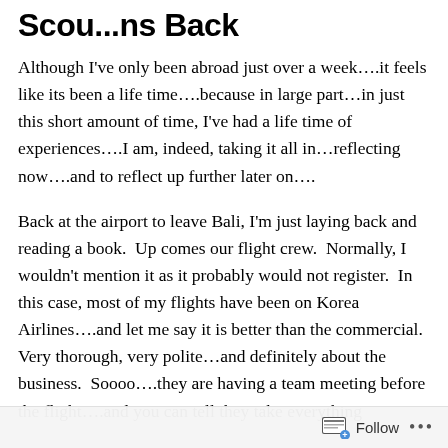Scou...ns Back
Although I've only been abroad just over a week….it feels like its been a life time….because in large part…in just this short amount of time, I've had a life time of experiences….I am, indeed, taking it all in…reflecting now….and to reflect up further later on….
Back at the airport to leave Bali, I'm just laying back and reading a book.  Up comes our flight crew.  Normally, I wouldn't mention it as it probably would not register.  In this case, most of my flights have been on Korea Airlines….and let me say it is better than the commercial.  Very thorough, very polite…and definitely about the business.  Soooo….they are having a team meeting before the flight….and you can tell they take everything
Follow